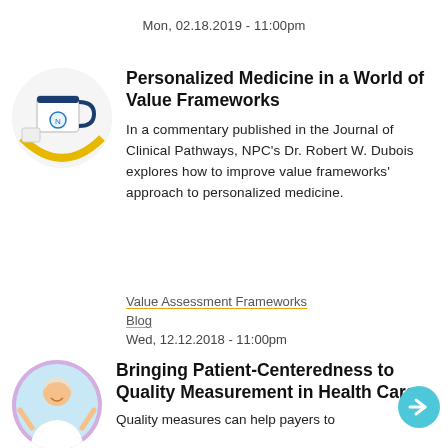Mon, 02.18.2019 - 11:00pm
[Figure (photo): Circular thumbnail of a white mug with blue handle and a yellow arc/logo design, on a white background]
Personalized Medicine in a World of Value Frameworks
In a commentary published in the Journal of Clinical Pathways, NPC's Dr. Robert W. Dubois explores how to improve value frameworks' approach to personalized medicine.
Value Assessment Frameworks
Blog
Wed, 12.12.2018 - 11:00pm
[Figure (photo): Circular thumbnail of an elderly woman smiling with raised hands, purple border]
Bringing Patient-Centeredness to Quality Measurement in Health Care
Quality measures can help payers to